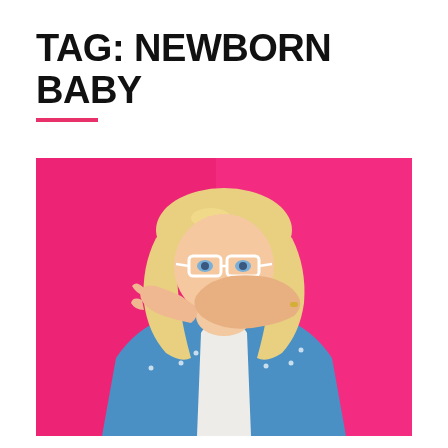TAG: NEWBORN BABY
[Figure (photo): Blonde woman with white-framed glasses covering her mouth with both hands, wearing a blue polka-dot shirt, against a bright pink background, with a surprised or shocked expression.]